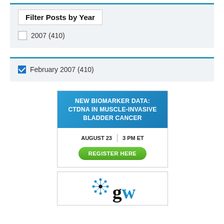Filter Posts by Year
2007 (410)
February 2007 (410)
[Figure (infographic): Advertisement banner for a webinar: NEW BIOMARKER DATA: CTDNA IN MUSCLE-INVASIVE BLADDER CANCER. AUGUST 23 | 3 PM ET. REGISTER HERE button.]
[Figure (logo): GW logo with network/nodes graphic above the letters g and w, where g is black and w is blue.]